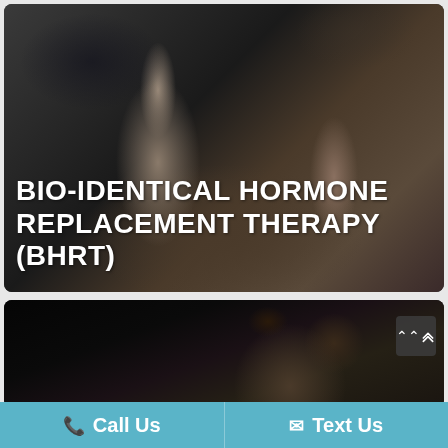[Figure (photo): Two muscular fitness models (male and female) lifting weights on a dark background, with bold white text overlay reading BIO-IDENTICAL HORMONE REPLACEMENT THERAPY (BHRT)]
BIO-IDENTICAL HORMONE REPLACEMENT THERAPY (BHRT)
[Figure (photo): Muscular male boxer with beard and tattoos wearing black boxing gloves, punching on a dark background]
Call Us   Text Us